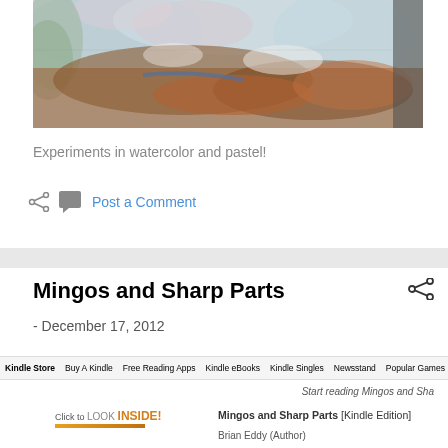[Figure (photo): Abstract watercolor and pastel painting with soft blues, pinks, and earthy browns/oranges]
Experiments in watercolor and pastel!
Post a Comment
Mingos and Sharp Parts
- December 17, 2012
Kindle Store  Buy A Kindle  Free Reading Apps  Kindle eBooks  Kindle Singles  Newsstand  Popular Games  A
Start reading Mingos and Sha
Click to LOOK INSIDE!
Mingos and Sharp Parts [Kindle Edition]
Brian Eddy (Author)